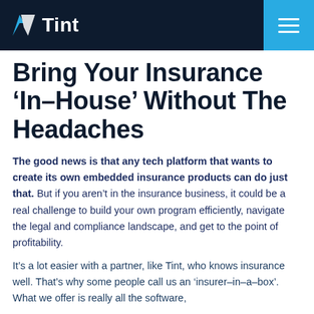Tint
Bring Your Insurance ‘In–House’ Without The Headaches
The good news is that any tech platform that wants to create its own embedded insurance products can do just that. But if you aren’t in the insurance business, it could be a real challenge to build your own program efficiently, navigate the legal and compliance landscape, and get to the point of profitability.
It’s a lot easier with a partner, like Tint, who knows insurance well. That’s why some people call us an ‘insurer–in–a–box’. What we offer is really all the software,